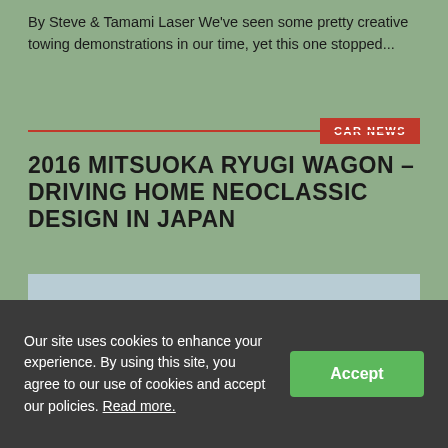By Steve & Tamami Laser We've seen some pretty creative towing demonstrations in our time, yet this one stopped...
CAR NEWS
2016 MITSUOKA RYUGI WAGON – DRIVING HOME NEOCLASSIC DESIGN IN JAPAN
[Figure (photo): Black Mitsuoka Ryugi Wagon car photographed in front of a city skyline, viewed from a slightly elevated angle.]
Our site uses cookies to enhance your experience. By using this site, you agree to our use of cookies and accept our policies. Read more.